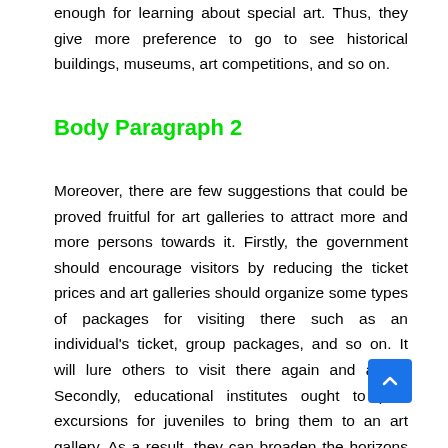enough for learning about special art. Thus, they give more preference to go to see historical buildings, museums, art competitions, and so on.
Body Paragraph 2
Moreover, there are few suggestions that could be proved fruitful for art galleries to attract more and more persons towards it. Firstly, the government should encourage visitors by reducing the ticket prices and art galleries should organize some types of packages for visiting there such as an individual's ticket, group packages, and so on. It will lure others to visit there again and again. Secondly, educational institutes ought to plan excursions for juveniles to bring them to an art gallery. As a result, they can broaden the horizons of their knowledge by watching the creativity of artists. Thirdly, the art galleries should have to organize live competitions over